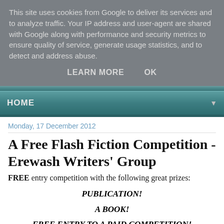This site uses cookies from Google to deliver its services and to analyze traffic. Your IP address and user-agent are shared with Google along with performance and security metrics to ensure quality of service, generate usage statistics, and to detect and address abuse.
LEARN MORE   OK
HOME ▼
Monday, 17 December 2012
A Free Flash Fiction Competition - Erewash Writers' Group
FREE entry competition with the following great prizes:
PUBLICATION!
A BOOK!
FREE ENTRY TO A PAID COMPETITION!